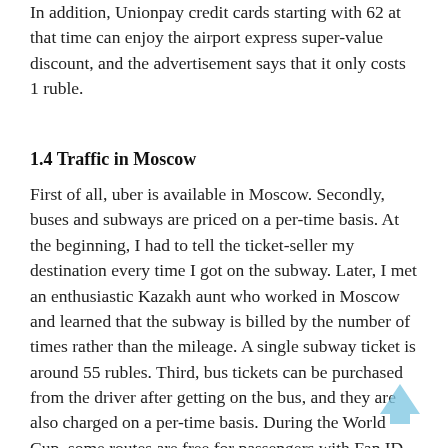In addition, Unionpay credit cards starting with 62 at that time can enjoy the airport express super-value discount, and the advertisement says that it only costs 1 ruble.
1.4 Traffic in Moscow
First of all, uber is available in Moscow. Secondly, buses and subways are priced on a per-time basis. At the beginning, I had to tell the ticket-seller my destination every time I got on the subway. Later, I met an enthusiastic Kazakh aunt who worked in Moscow and learned that the subway is billed by the number of times rather than the mileage. A single subway ticket is around 55 rubles. Third, bus tickets can be purchased from the driver after getting on the bus, and they are also charged on a per-time basis. During the World Cup, some routes are free for passengers with Fan ID. There are subway-like turnstiles on buses in Moscow. After buying a ticket